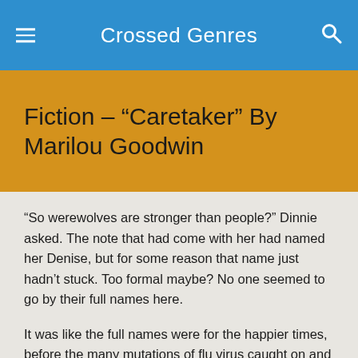Crossed Genres
Fiction – “Caretaker” By Marilou Goodwin
“So werewolves are stronger than people?” Dinnie asked. The note that had come with her had named her Denise, but for some reason that name just hadn’t stuck. Too formal maybe? No one seemed to go by their full names here.
It was like the full names were for the happier times, before the many mutations of flu virus caught on and killed off so many humans that the Others couldn’t hide amongst us anymore. Before they realized they